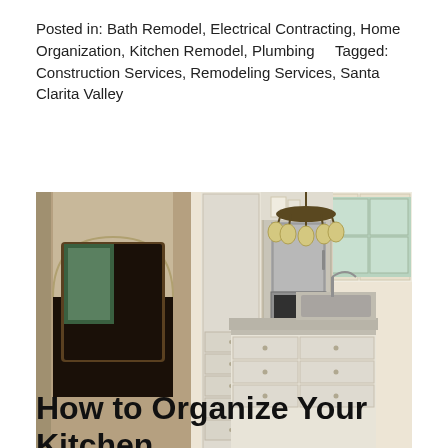Posted in: Bath Remodel, Electrical Contracting, Home Organization, Kitchen Remodel, Plumbing    Tagged: Construction Services, Remodeling Services, Santa Clarita Valley
[Figure (photo): Interior photo of a luxury kitchen featuring white cabinetry, a central island with a sink, stainless steel refrigerator and appliances, arched doorways, hardwood floors, a chandelier, and large windows.]
How to Organize Your Kitchen